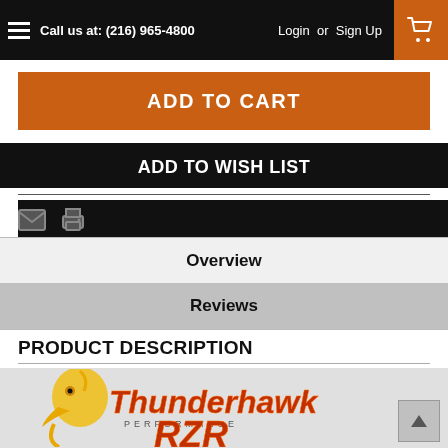Call us at: (216) 965-4800  Login or Sign Up
ADD TO CART
ADD TO WISH LIST
Overview
Reviews
PRODUCT DESCRIPTION
[Figure (logo): Thunderhawk Performance RZR logo — eagle head in gold with red/orange italic text]